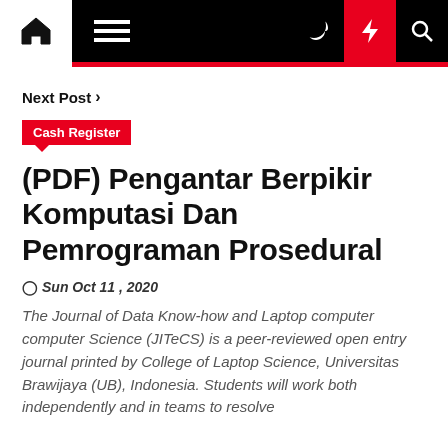[Figure (screenshot): Navigation bar with home icon, hamburger menu, dark mode, lightning (red), and search icons on black background]
Next Post >
Cash Register
(PDF) Pengantar Berpikir Komputasi Dan Pemrograman Prosedural
Sun Oct 11, 2020
The Journal of Data Know-how and Laptop computer computer Science (JITeCS) is a peer-reviewed open entry journal printed by College of Laptop Science, Universitas Brawijaya (UB), Indonesia. Students will work both independently and in teams to resolve